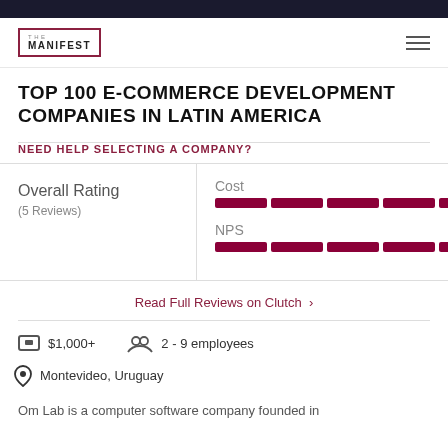THE MANIFEST
TOP 100 E-COMMERCE DEVELOPMENT COMPANIES IN LATIN AMERICA
NEED HELP SELECTING A COMPANY?
Overall Rating (5 Reviews)
Cost 4.8
NPS 5.0
Read Full Reviews on Clutch >
$1,000+
2 - 9 employees
Montevideo, Uruguay
Om Lab is a computer software company founded in